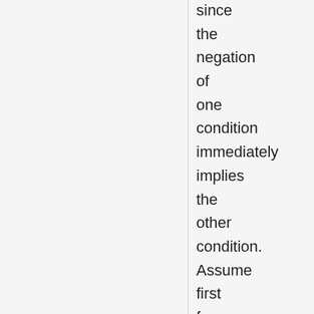since the negation of one condition immediately implies the other condition. Assume first former condition: that